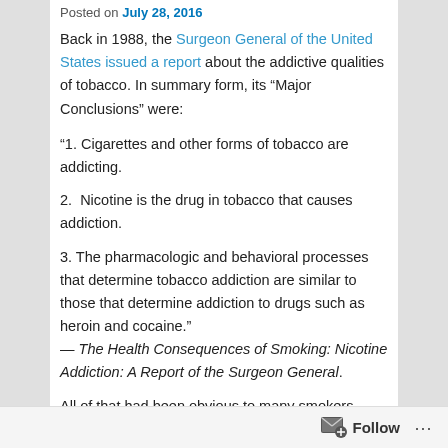Posted on July 28, 2016
Back in 1988, the Surgeon General of the United States issued a report about the addictive qualities of tobacco. In summary form, its “Major Conclusions” were:
“1. Cigarettes and other forms of tobacco are addicting.
2.  Nicotine is the drug in tobacco that causes addiction.
3. The pharmacologic and behavioral processes that determine tobacco addiction are similar to those that determine addiction to drugs such as heroin and cocaine.”
— The Health Consequences of Smoking: Nicotine Addiction: A Report of the Surgeon General.
All of that had been obvious to many smokers who’d tried unsuccessfully to quit — and to many others who had watched their efforts. But six years later, the presidents and CEOs of the seven major tobacco companies faced a